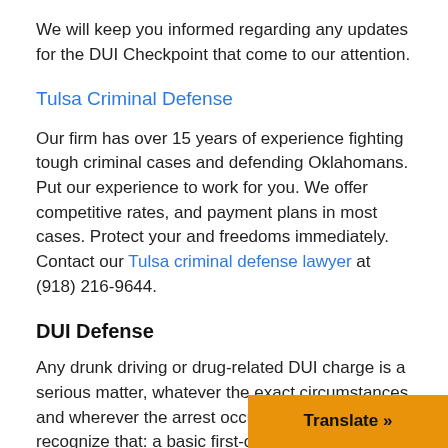We will keep you informed regarding any updates for the DUI Checkpoint that come to our attention.
Tulsa Criminal Defense
Our firm has over 15 years of experience fighting tough criminal cases and defending Oklahomans. Put our experience to work for you. We offer competitive rates, and payment plans in most cases. Protect your and freedoms immediately. Contact our Tulsa criminal defense lawyer at (918) 216-9644.
DUI Defense
Any drunk driving or drug-related DUI charge is a serious matter, whatever the exact circumstances and wherever the arrest occurred. Please recognize that: a basic first-offense Oklahoma DUI conviction can bring a sentence of up to one year in jail, a $1,000 fine plus hundreds in additional fees, driver's license suspension and more. Additionally, "aggravating factors" such as a prior DUI conviction or the presence of a perso... vehicle significantly increase the potential for a